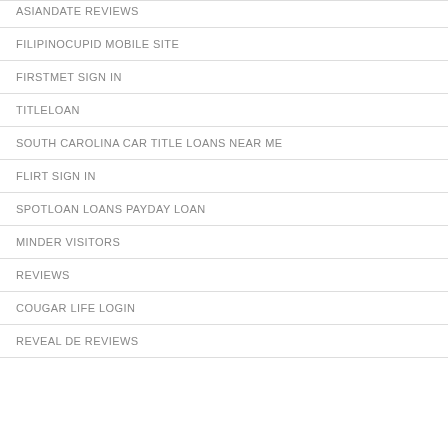ASIANDATE REVIEWS
FILIPINOCUPID MOBILE SITE
FIRSTMET SIGN IN
TITLELOAN
SOUTH CAROLINA CAR TITLE LOANS NEAR ME
FLIRT SIGN IN
SPOTLOAN LOANS PAYDAY LOAN
MINDER VISITORS
REVIEWS
COUGAR LIFE LOGIN
REVEAL DE REVIEWS